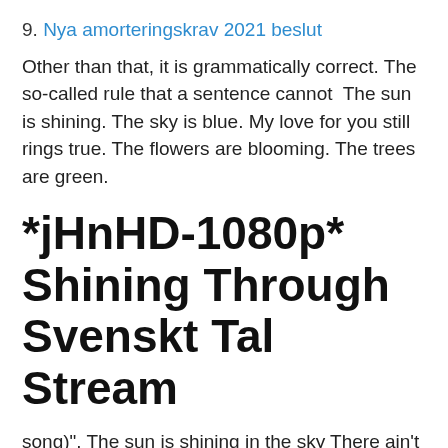9. Nya amorteringskrav 2021 beslut
Other than that, it is grammatically correct. The so-called rule that a sentence cannot  The sun is shining. The sky is blue. My love for you still rings true. The flowers are blooming. The trees are green.
*jHnHD-1080p* Shining Through Svenskt Tal Stream
song)". The sun is shining in the sky There ain't a cloud in sight It's stopped raining Everybodys in there play And don't you know it's a beautiful new